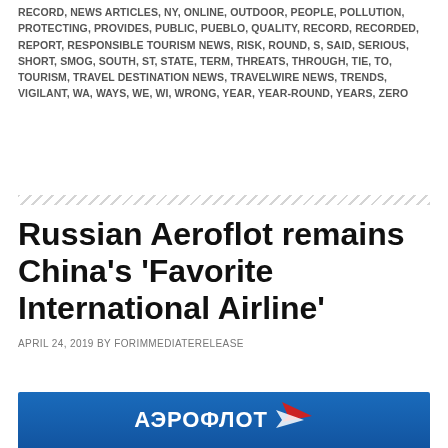RECORD, NEWS ARTICLES, NY, ONLINE, OUTDOOR, PEOPLE, POLLUTION, PROTECTING, PROVIDES, PUBLIC, PUEBLO, QUALITY, RECORD, RECORDED, REPORT, RESPONSIBLE TOURISM NEWS, RISK, ROUND, S, SAID, SERIOUS, SHORT, SMOG, SOUTH, ST, STATE, TERM, THREATS, THROUGH, TIE, TO, TOURISM, TRAVEL DESTINATION NEWS, TRAVELWIRE NEWS, TRENDS, VIGILANT, WA, WAYS, WE, WI, WRONG, YEAR, YEAR-ROUND, YEARS, ZERO
Russian Aeroflot remains China's 'Favorite International Airline'
APRIL 24, 2019 BY FORIMMEDIATERELEASE
[Figure (photo): Aeroflot airline logo on blue background showing the Cyrillic text АЭРОФЛОТ with the airline's red and white wing logo]